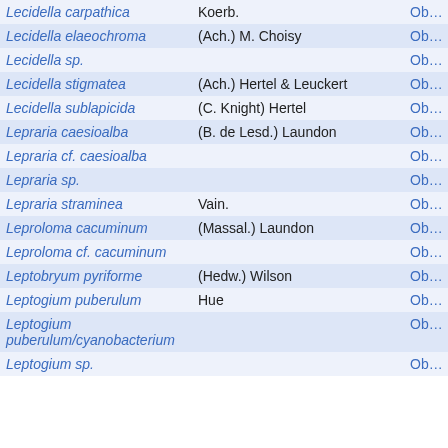| Species | Authority | Link |
| --- | --- | --- |
| Lecidella carpathica | Koerb. | Ob… |
| Lecidella elaeochroma | (Ach.) M. Choisy | Ob… |
| Lecidella sp. |  | Ob… |
| Lecidella stigmatea | (Ach.) Hertel & Leuckert | Ob… |
| Lecidella sublapicida | (C. Knight) Hertel | Ob… |
| Lepraria caesioalba | (B. de Lesd.) Laundon | Ob… |
| Lepraria cf. caesioalba |  | Ob… |
| Lepraria sp. |  | Ob… |
| Lepraria straminea | Vain. | Ob… |
| Leproloma cacuminum | (Massal.) Laundon | Ob… |
| Leproloma cf. cacuminum |  | Ob… |
| Leptobryum pyriforme | (Hedw.) Wilson | Ob… |
| Leptogium puberulum | Hue | Ob… |
| Leptogium puberulum/cyanobacterium |  | Ob… |
| Leptogium sp. |  | Ob… |